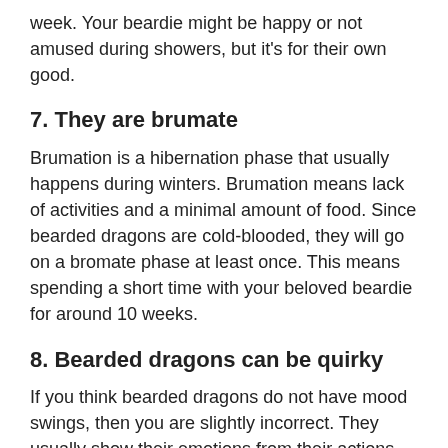week. Your beardie might be happy or not amused during showers, but it's for their own good.
7. They are brumate
Brumation is a hibernation phase that usually happens during winters. Brumation means lack of activities and a minimal amount of food. Since bearded dragons are cold-blooded, they will go on a bromate phase at least once. This means spending a short time with your beloved beardie for around 10 weeks.
8. Bearded dragons can be quirky
If you think bearded dragons do not have mood swings, then you are slightly incorrect. They usually show their emotions from their actions. Sometimes they would sulk in a corner, not wanting to see your face. Other times, they